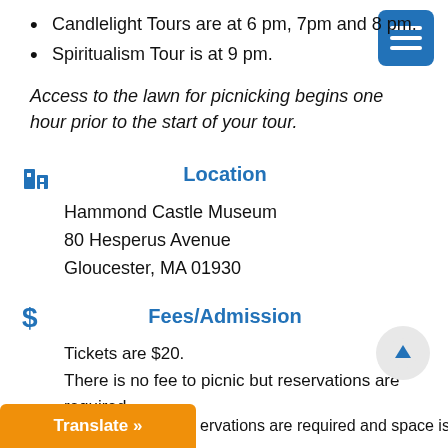Candlelight Tours are at 6 pm, 7pm and 8 pm.
Spiritualism Tour is at 9 pm.
Access to the lawn for picnicking begins one hour prior to the start of your tour.
Location
Hammond Castle Museum
80 Hesperus Avenue
Gloucester, MA 01930
Fees/Admission
Tickets are $20.
There is no fee to picnic but reservations are required.
ervations are required and space is